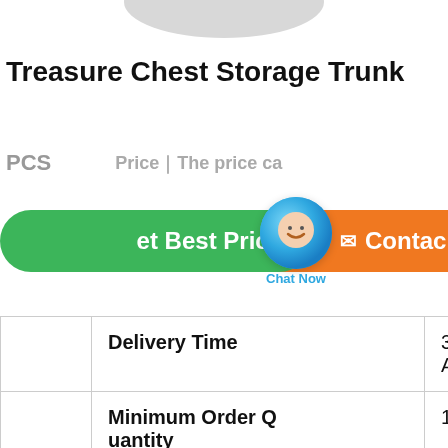Treasure Chest Storage Trunk
PCS   Price｜The price ca
[Figure (screenshot): Green 'Get Best Price' button, a blue chat bubble with smiling face and 'Chat Now' label, and an orange 'Contact' button with envelope icon]
|  | Field | Value |
| --- | --- | --- |
|  | Delivery Time | 30-45DAYS |
|  | Minimum Order Quantity | 100PCS |